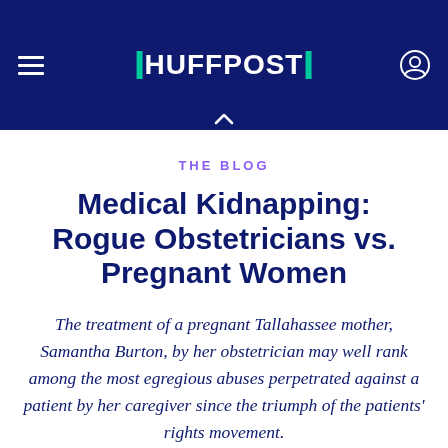HUFFPOST
THE BLOG
Medical Kidnapping: Rogue Obstetricians vs. Pregnant Women
The treatment of a pregnant Tallahassee mother, Samantha Burton, by her obstetrician may well rank among the most egregious abuses perpetrated against a patient by her caregiver since the triumph of the patients' rights movement.